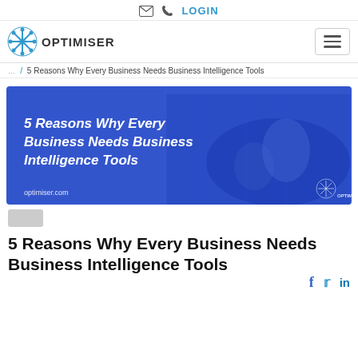✉ 📞 LOGIN
[Figure (logo): Optimiser logo with snowflake-like icon and text OPTIMISER]
/ 5 Reasons Why Every Business Needs Business Intelligence Tools
[Figure (illustration): Blue-toned banner image of a person typing on a laptop with text overlay: 5 Reasons Why Every Business Needs Business Intelligence Tools. URL optimiser.com shown at bottom left.]
5 Reasons Why Every Business Needs Business Intelligence Tools